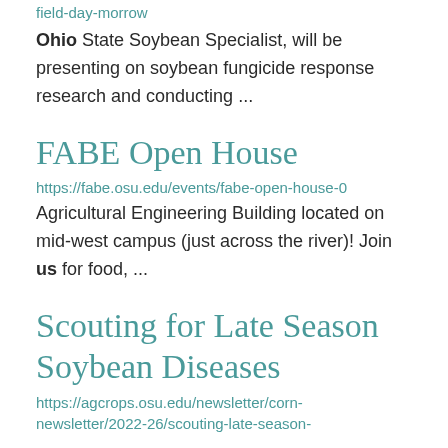field-day-morrow
Ohio State Soybean Specialist, will be presenting on soybean fungicide response research and conducting ...
FABE Open House
https://fabe.osu.edu/events/fabe-open-house-0
Agricultural Engineering Building located on mid-west campus (just across the river)! Join us for food, ...
Scouting for Late Season Soybean Diseases
https://agcrops.osu.edu/newsletter/corn-newsletter/2022-26/scouting-late-season-soybean-diseases